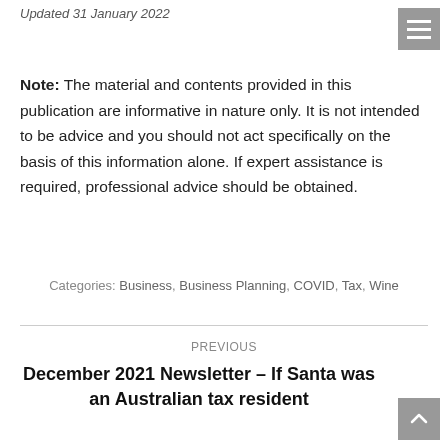Updated 31 January 2022
Note: The material and contents provided in this publication are informative in nature only.  It is not intended to be advice and you should not act specifically on the basis of this information alone.  If expert assistance is required, professional advice should be obtained.
Categories: Business, Business Planning, COVID, Tax, Wine
PREVIOUS
December 2021 Newsletter – If Santa was an Australian tax resident